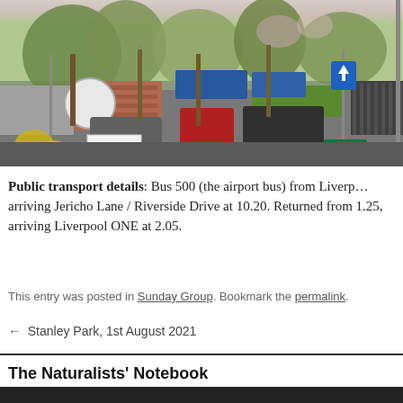[Figure (photo): Street scene photo showing an industrial/bus depot area with trees, vehicles, road signs, blue containers, brick buildings, and green fencing visible.]
Public transport details: Bus 500 (the airport bus) from Liverpool arriving Jericho Lane / Riverside Drive at 10.20. Returned from 1.25, arriving Liverpool ONE at 2.05.
This entry was posted in Sunday Group. Bookmark the permalink.
← Stanley Park, 1st August 2021
The Naturalists' Notebook